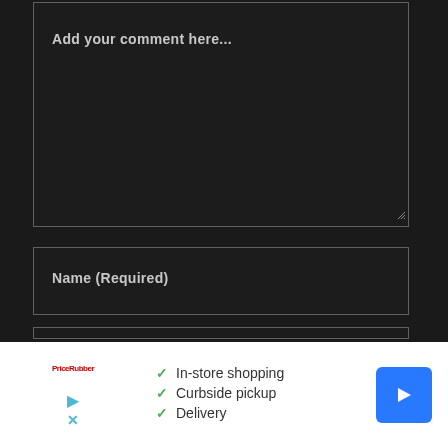Add your comment here...
Name (Required)
[Figure (screenshot): Advertisement banner with white background showing a logo, checklist of services (In-store shopping, Curbside pickup, Delivery) with green checkmarks, a blue play button icon, a blue X close button, and a blue diamond-shaped navigation arrow icon on the right.]